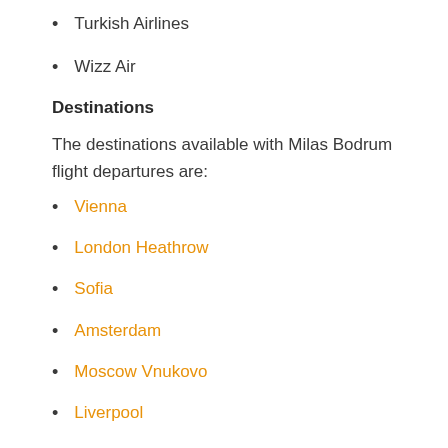Turkish Airlines
Wizz Air
Destinations
The destinations available with Milas Bodrum flight departures are:
Vienna
London Heathrow
Sofia
Amsterdam
Moscow Vnukovo
Liverpool